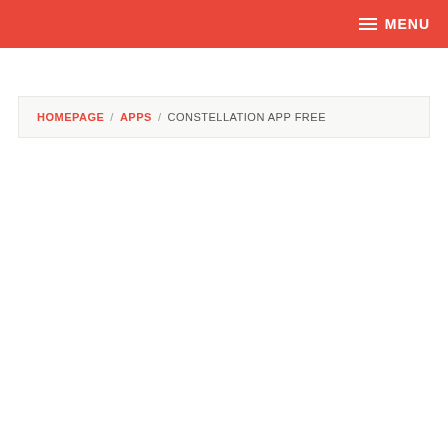MENU
HOMEPAGE / APPS / CONSTELLATION APP FREE